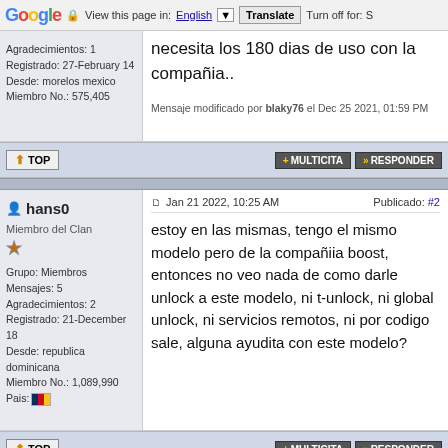Google  View this page in: English [▼]  Translate  Turn off for: S
necesita los 180 dias de uso con la compañia..
Mensaje modificado por blaky76 el Dec 25 2021, 01:59 PM
Agradecimientos: 1
Registrado: 27-February 14
Desde: morelos mexico
Miembro No.: 575,405
↑ TOP   + MULTICITA   » RESPONDER
hans0
Miembro del Clan
Grupo: Miembros
Mensajes: 5
Agradecimientos: 2
Registrado: 21-December 18
Desde: republica dominicana
Miembro No.: 1,089,990
Pais:
Jan 21 2022, 10:25 AM   Publicado: #2
estoy en las mismas, tengo el mismo modelo pero de la compañiia boost, entonces no veo nada de como darle unlock a este modelo, ni t-unlock, ni global unlock, ni servicios remotos, ni por codigo sale, alguna ayudita con este modelo?
↑ TOP   + MULTICITA   » RESPONDER